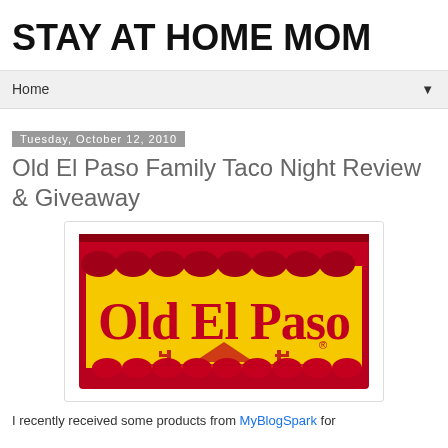STAY AT HOME MOM
Home
Tuesday, October 12, 2010
Old El Paso Family Taco Night Review & Giveaway
[Figure (logo): Old El Paso brand logo — yellow background with red text and decorative tile roof border]
I recently received some products from MyBlogSpark for